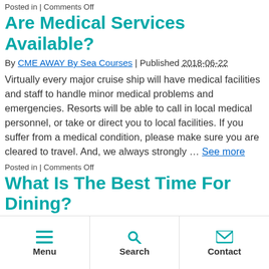Posted in | Comments Off
Are Medical Services Available?
By CME AWAY By Sea Courses | Published 2018-06-22
Virtually every major cruise ship will have medical facilities and staff to handle minor medical problems and emergencies. Resorts will be able to call in local medical personnel, or take or direct you to local facilities. If you suffer from a medical condition, please make sure you are cleared to travel. And, we always strongly … See more
Posted in | Comments Off
What Is The Best Time For Dining?
By CME AWAY By Sea Courses | Published 2018-06-22
There is no one correct answer to this. It can vary by personal preference and perhaps which resort location or
Menu | Search | Contact